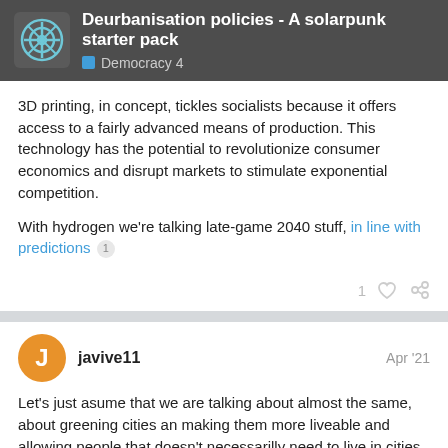Deurbanisation policies - A solarpunk starter pack | Democracy 4
3D printing, in concept, tickles socialists because it offers access to a fairly advanced means of production. This technology has the potential to revolutionize consumer economics and disrupt markets to stimulate exponential competition.
With hydrogen we're talking late-game 2040 stuff, in line with predictions 1
1 ♡ link
javive11 Apr '21
Let's just asume that we are talking about almost the same, about greening cities an making them more liveable and allowing people that doesn't necessarilly need to live in cities to go to some rural villages more c but, to some extent that may hurt the en
2 / 9